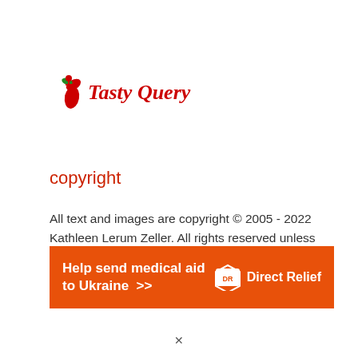[Figure (logo): Tasty Query logo with red chili pepper icon and red italic script text]
copyright
All text and images are copyright © 2005 - 2022 Kathleen Lerum Zeller. All rights reserved unless otherwise indicated. No content may be used for any reason without permission of the author.
[Figure (infographic): Orange banner advertisement: 'Help send medical aid to Ukraine >>' with Direct Relief logo on the right]